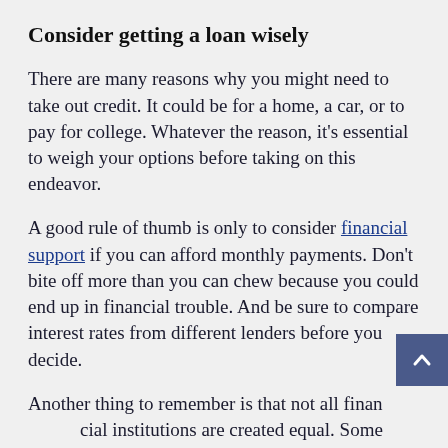Consider getting a loan wisely
There are many reasons why you might need to take out credit. It could be for a home, a car, or to pay for college. Whatever the reason, it’s essential to weigh your options before taking on this endeavor.
A good rule of thumb is only to consider financial support if you can afford monthly payments. Don’t bite off more than you can chew because you could end up in financial trouble. And be sure to compare interest rates from different lenders before you decide.
Another thing to remember is that not all financial institutions are created equal. Some have lower interest rates and longer terms, while others have a higher and shorter duration. So, make sure to choose the one that’s best for you.